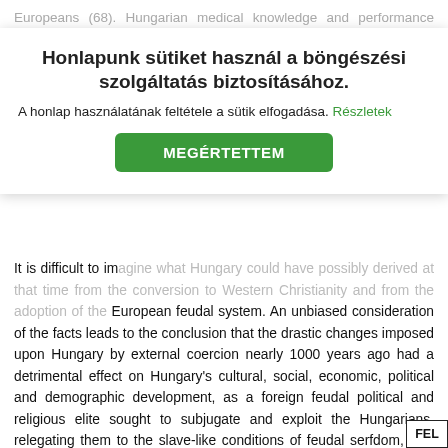Europeans (68). Hungarian medical knowledge and performance were more advanced (69) and the social behaviour and moral standards (code of honor) were
Honlapunk sütiket használ a böngészési szolgáltatás biztosításához.
A honlap használatának feltétele a sütik elfogadása. Részletek
MEGÉRTETTEM
It is difficult to imagine what Hungary could have possibly derived at that time from the conversion to Western Christianity and from the adoption of the European feudal system. An unbiased consideration of the facts leads to the conclusion that the drastic changes imposed upon Hungary by external coercion nearly 1000 years ago had a detrimental effect on Hungary's cultural, social, economic, political and demographic development, as a foreign feudal political and religious elite sought to subjugate and exploit the Hungarians, relegating them to the slave-like conditions of feudal serfdom, with Western Christianism as the legitimizing ideology. The nearly ten centuries of Christian feudal regime saw the continuous decline of the power and wealth of Hungary, a trend which was interrupted only by a few relatively brief periods of internal peace and prosperity which proved to be the exception to the general political instability, social fragmentation,